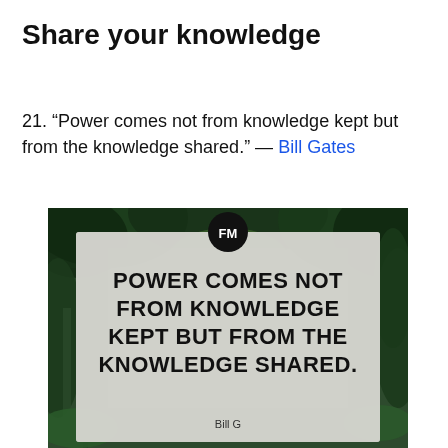Share your knowledge
21. “Power comes not from knowledge kept but from the knowledge shared.” — Bill Gates
[Figure (illustration): Forest background photo with a semi-transparent quote card overlay. The card shows an FM logo circle at top center, and large bold uppercase text: POWER COMES NOT FROM KNOWLEDGE KEPT BUT FROM THE KNOWLEDGE SHARED. with 'Bill G' partially visible at the bottom.]